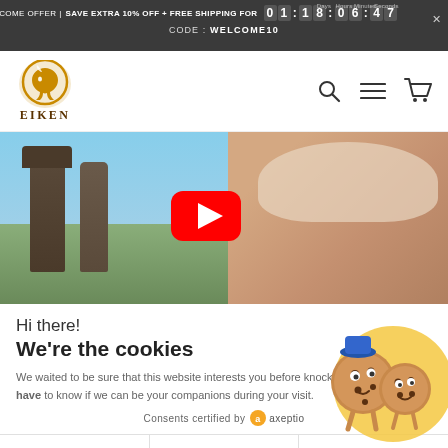WELCOME OFFER | SAVE EXTRA 10% OFF + FREE SHIPPING FOR 01:18:06:47 CODE: WELCOME10
[Figure (logo): Eiken brand logo: golden horse head silhouette in circular shape above the text EIKEN in brown serif letters]
[Figure (screenshot): Hero image: video thumbnail showing an elderly man's face next to Easter Island stone statues under a blue sky, with a red YouTube play button overlay in the center]
Hi there!
We're the cookies
We waited to be sure that this website interests you before knocking, but we have to know if we can be your companions during your visit.
[Figure (illustration): Two cartoon cookie characters with faces standing in front of a yellow circular background]
Consents certified by axeptio
No, thanks | I want to choose | OK!